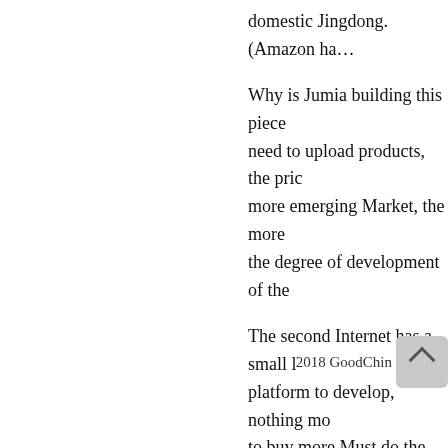domestic Jingdong. (Amazon ha…
Why is Jumia building this piece… need to upload products, the pric… more emerging Market, the more… the degree of development of the…
The second Internet has a small l… platform to develop, nothing mo… to buy more Must do the entire p… more products, the price is good.… very critical link. Several links n…
2018 GoodChin…